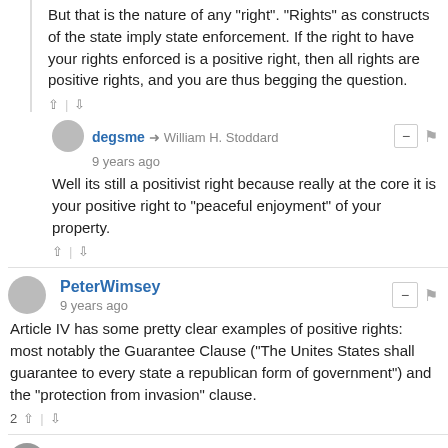But that is the nature of any "right". "Rights" as constructs of the state imply state enforcement. If the right to have your rights enforced is a positive right, then all rights are positive rights, and you are thus begging the question.
degsme → William H. Stoddard
9 years ago
Well its still a positivist right because really at the core it is your positive right to "peaceful enjoyment" of your property.
PeterWimsey
9 years ago
Article IV has some pretty clear examples of positive rights: most notably the Guarantee Clause ("The Unites States shall guarantee to every state a republican form of government") and the "protection from invasion" clause.
gv516